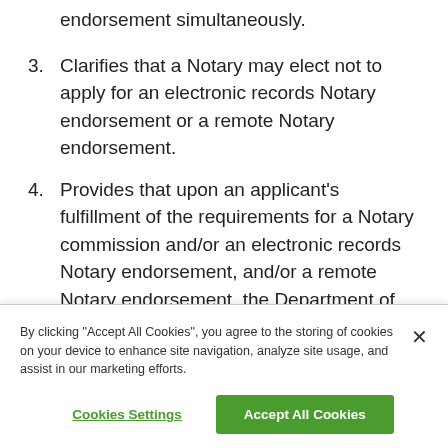endorsement simultaneously.
3. Clarifies that a Notary may elect not to apply for an electronic records Notary endorsement or a remote Notary endorsement.
4. Provides that upon an applicant's fulfillment of the requirements for a Notary commission and/or an electronic records Notary endorsement, and/or a remote Notary endorsement, the Department of Licensing shall approve the application and issue the Notary commission and/or any appropriate endorsements.
By clicking "Accept All Cookies", you agree to the storing of cookies on your device to enhance site navigation, analyze site usage, and assist in our marketing efforts.